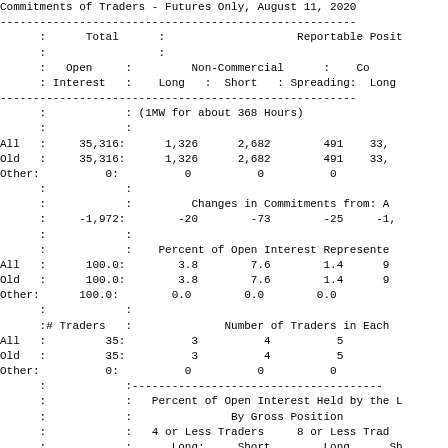Commitments of Traders - Futures Only, August 11, 2020
|  | Total : Open Interest | Non-Commercial Long | Non-Commercial Short | Non-Commercial Spreading | Commercial Long |
| --- | --- | --- | --- | --- | --- |
|  | (1MW for about 368 Hours) |  |  |  |  |
| All | 35,316: | 1,326 | 2,682 | 491 | 33, |
| Old | 35,316: | 1,326 | 2,682 | 491 | 33, |
| Other: | 0: | 0 | 0 | 0 |  |
|  |  | Changes in Commitments from: A |  |  |  |
|  | -1,972: | -20 | -73 | -25 | -1, |
|  |  | Percent of Open Interest Represented |  |  |  |
| All | 100.0: | 3.8 | 7.6 | 1.4 | 9 |
| Old | 100.0: | 3.8 | 7.6 | 1.4 | 9 |
| Other: | 100.0: | 0.0 | 0.0 | 0.0 |  |
|  | # Traders : |  | Number of Traders in Each |  |  |
| All | 35: | 3 | 4 | 5 |  |
| Old | 35: | 3 | 4 | 5 |  |
| Other: | 0: | 0 | 0 | 0 |  |
|  |  | Percent of Open Interest Held by the L |  |  |  |
|  |  | By Gross Position |  |  |  |
|  |  | 4 or Less Traders |  | 8 or Less Trad |  |
|  |  | Long: | Short | Long | Sh |